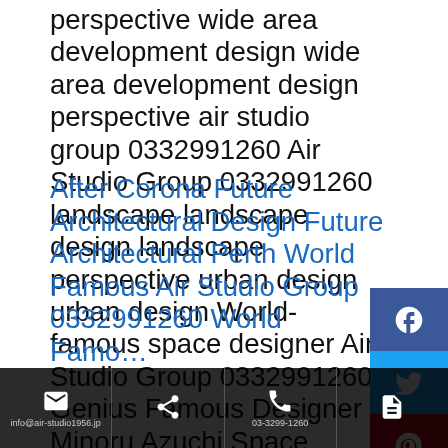perspective wide area development design wide area development design perspective air studio group 0332991260 Air Studio Group 0332991260 landscape landscape design landscape perspective urban design urban design World-famous space designer Air Studio Group 0332991260 Genius Famous Designer Minoru Azuchi Space Designer Environmental Development Environmental Development Landscape Design Landscape Design Perth Air Studio Group 0332991260 Genius World-famous Designer Minoru Azuchi Bird-view Design Bird-view Design Perth Bird-view Design Air Studio Group 0332991260 Air Studio Group 0332991260
After Corona Future Architectural Design Future Architectural Perth World Famous Air Studio Group 0332991260 World Fam...
[Figure (other): Social media share buttons bar on right side: Facebook (blue), Twitter (light blue), Pinterest (red), VK (blue), more (grey), up arrow (blue)]
info@air-studio1956.jp | share | 03-3299-1260 | document